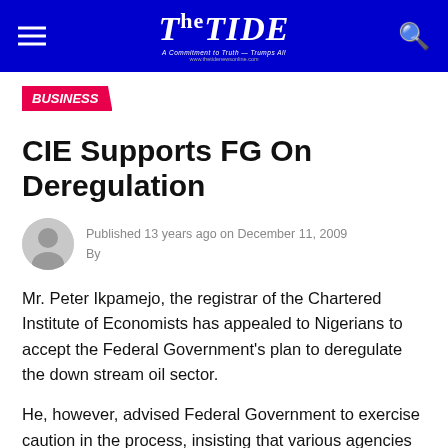The TIDE
BUSINESS
CIE Supports FG On Deregulation
Published 13 years ago on December 11, 2009
By
Mr. Peter Ikpamejo, the registrar of the Chartered Institute of Economists has appealed to Nigerians to accept the Federal Government's plan to deregulate the down stream oil sector.
He, however, advised Federal Government to exercise caution in the process, insisting that various agencies of government saddled with the responsibility of working out the modalities for the deregulation should carry the